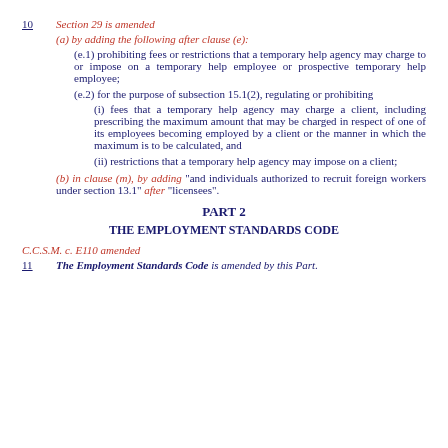10    Section 29 is amended
(a) by adding the following after clause (e):
(e.1) prohibiting fees or restrictions that a temporary help agency may charge to or impose on a temporary help employee or prospective temporary help employee;
(e.2) for the purpose of subsection 15.1(2), regulating or prohibiting
(i) fees that a temporary help agency may charge a client, including prescribing the maximum amount that may be charged in respect of one of its employees becoming employed by a client or the manner in which the maximum is to be calculated, and
(ii) restrictions that a temporary help agency may impose on a client;
(b) in clause (m), by adding "and individuals authorized to recruit foreign workers under section 13.1" after "licensees".
PART 2
THE EMPLOYMENT STANDARDS CODE
C.C.S.M. c. E110 amended
11    The Employment Standards Code is amended by this Part.